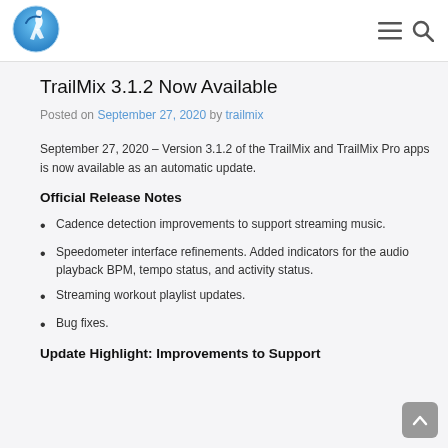TrailMix app logo, navigation menu and search icons
TrailMix 3.1.2 Now Available
Posted on September 27, 2020 by trailmix
September 27, 2020 – Version 3.1.2 of the TrailMix and TrailMix Pro apps is now available as an automatic update.
Official Release Notes
Cadence detection improvements to support streaming music.
Speedometer interface refinements. Added indicators for the audio playback BPM, tempo status, and activity status.
Streaming workout playlist updates.
Bug fixes.
Update Highlight: Improvements to Support